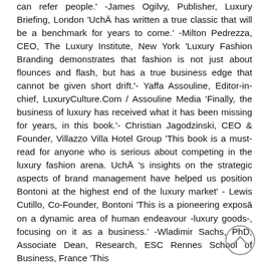can refer people.' -James Ogilvy, Publisher, Luxury Briefing, London 'UchÄ has written a true classic that will be a benchmark for years to come.' -Milton Pedrezza, CEO, The Luxury Institute, New York 'Luxury Fashion Branding demonstrates that fashion is not just about flounces and flash, but has a true business edge that cannot be given short drift.'- Yaffa Assouline, Editor-in-chief, LuxuryCulture.Com / Assouline Media 'Finally, the business of luxury has received what it has been missing for years, in this book.'- Christian Jagodzinski, CEO & Founder, Villazzo Villa Hotel Group 'This book is a must-read for anyone who is serious about competing in the luxury fashion arena. UchÄ 's insights on the strategic aspects of brand management have helped us position Bontoni at the highest end of the luxury market' - Lewis Cutillo, Co-Founder, Bontoni 'This is a pioneering exposā on a dynamic area of human endeavour -luxury goods-, focusing on it as a business.' -Wladimir Sachs, PhD, Associate Dean, Research, ESC Rennes School of Business, France 'This